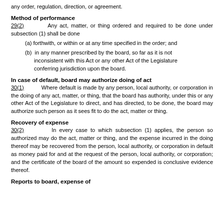any order, regulation, direction, or agreement.
Method of performance
29(2)       Any act, matter, or thing ordered and required to be done under subsection (1) shall be done
(a) forthwith, or within or at any time specified in the order; and
(b) in any manner prescribed by the board, so far as it is not inconsistent with this Act or any other Act of the Legislature conferring jurisdiction upon the board.
In case of default, board may authorize doing of act
30(1)       Where default is made by any person, local authority, or corporation in the doing of any act, matter, or thing, that the board has authority, under this or any other Act of the Legislature to direct, and has directed, to be done, the board may authorize such person as it sees fit to do the act, matter or thing.
Recovery of expense
30(2)       In every case to which subsection (1) applies, the person so authorized may do the act, matter or thing, and the expense incurred in the doing thereof may be recovered from the person, local authority, or corporation in default as money paid for and at the request of the person, local authority, or corporation; and the certificate of the board of the amount so expended is conclusive evidence thereof.
Reports to board, expense of